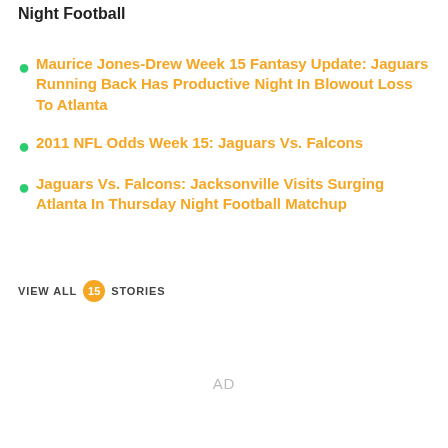Night Football
Maurice Jones-Drew Week 15 Fantasy Update: Jaguars Running Back Has Productive Night In Blowout Loss To Atlanta
2011 NFL Odds Week 15: Jaguars Vs. Falcons
Jaguars Vs. Falcons: Jacksonville Visits Surging Atlanta In Thursday Night Football Matchup
VIEW ALL 15 STORIES
AD